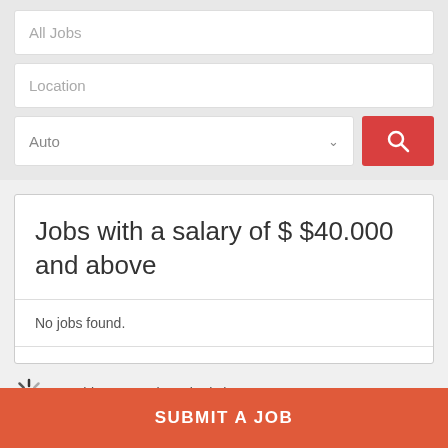All Jobs
Location
Auto
Jobs with a salary of $ $40.000 and above
No jobs found.
Fetching Careerjet Job Listings
SUBMIT A JOB